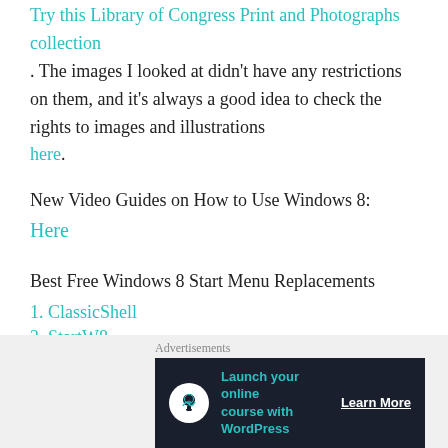Try this Library of Congress Print and Photographs collection. The images I looked at didn't have any restrictions on them, and it's always a good idea to check the rights to images and illustrations here.
New Video Guides on How to Use Windows 8:
Here
Best Free Windows 8 Start Menu Replacements
1. ClassicShell
2. StartW8
[Figure (other): Advertisement banner: 'Launch your online course with WordPress' with Learn More button, dark background with teal text and tree icon]
Advertisements